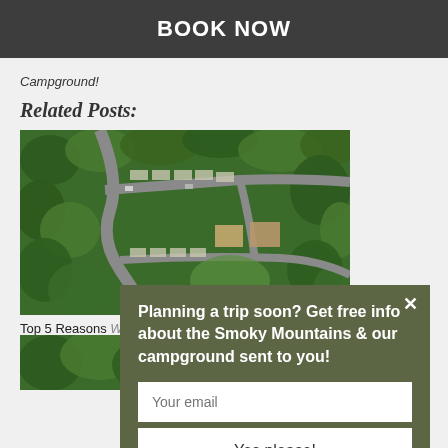BOOK NOW
Campground!
Related Posts:
[Figure (photo): Aerial view of a campground surrounded by trees, showing roads, campsites, and facilities]
Top 5 Reasons Why Guests Return to Our Smoky Mountain Campground Year After Year
[Figure (photo): Popup modal with olive/dark green background containing email signup form for Smoky Mountains campground information]
[Figure (photo): Bottom partial photo of campground trees]